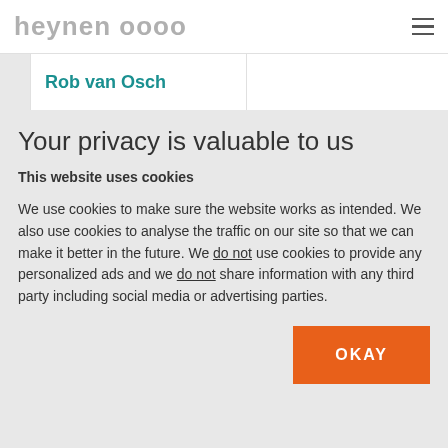heynen oooo [logo] [hamburger menu]
Rob van Osch
Your privacy is valuable to us
This website uses cookies
We use cookies to make sure the website works as intended. We also use cookies to analyse the traffic on our site so that we can make it better in the future. We do not use cookies to provide any personalized ads and we do not share information with any third party including social media or advertising parties.
OKAY